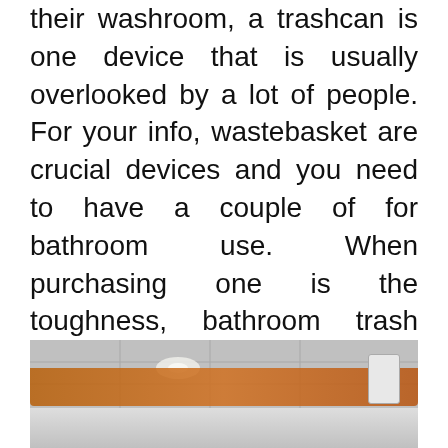their washroom, a trashcan is one device that is usually overlooked by a lot of people. For your info, wastebasket are crucial devices and you need to have a couple of for bathroom use. When purchasing one is the toughness, bathroom trash cans come in different shapes and dimensions yet what the primary point you have to take into consideration. At the same time, make sure that it is easy to dry and tidy.
[Figure (photo): Interior photo of a commercial bathroom or hallway ceiling with recessed lighting, an orange/wood-toned horizontal bar element, and what appears to be a wall-mounted device on the right side.]